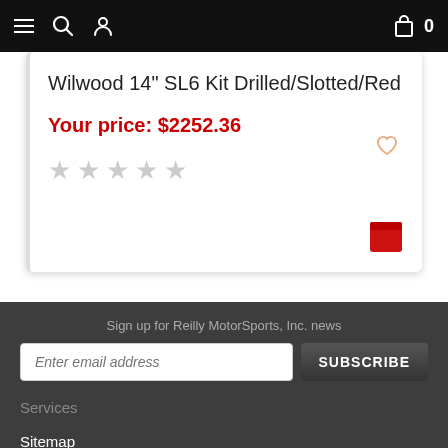Navigation bar with menu, search, user, cart icons
Wilwood 14" SL6 Kit Drilled/Slotted/Red
Your price: $2252.36
★★★★★ (empty stars rating)
Sign up for Reilly MotorSports, Inc. news
Enter email address
SUBSCRIBE
Services
Sitemap
Privacy Policy
Shipping info
Contact us